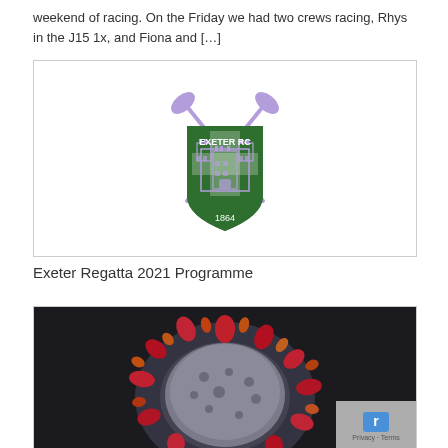weekend of racing. On the Friday we had two crews racing, Rhys in the J15 1x, and Fiona and […]
[Figure (logo): Exeter RC rowing club logo: green shield with castle emblem, crossed oars, text 'EXETER RC' and '1864']
Exeter Regatta 2021 Programme
[Figure (photo): Close-up photograph of a coronavirus particle on dark background, showing red spiky proteins]